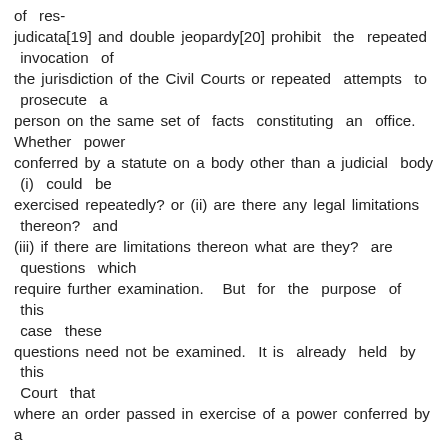of res-judicata[19] and double jeopardy[20] prohibit the repeated invocation of the jurisdiction of the Civil Courts or repeated attempts to prosecute a person on the same set of facts constituting an office. Whether power conferred by a statute on a body other than a judicial body (i) could be exercised repeatedly? or (ii) are there any legal limitations thereon? and (iii) if there are limitations thereon what are they? are questions which require further examination. But for the purpose of this case these questions need not be examined. It is already held by this Court that where an order passed in exercise of a power conferred by a statute is set aside on the ground that such an order was passed in breach of the principles of natural justice, the power could once again be